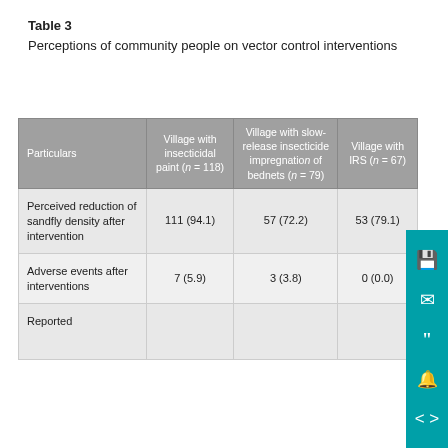Table 3
Perceptions of community people on vector control interventions
| Particulars | Village with insecticidal paint (n = 118) | Village with slow-release insecticide impregnation of bednets (n = 79) | Village with IRS (n = 67) |
| --- | --- | --- | --- |
| Perceived reduction of sandfly density after intervention | 111 (94.1) | 57 (72.2) | 53 (79.1) |
| Adverse events after interventions | 7 (5.9) | 3 (3.8) | 0 (0.0) |
| Reported |  |  |  |